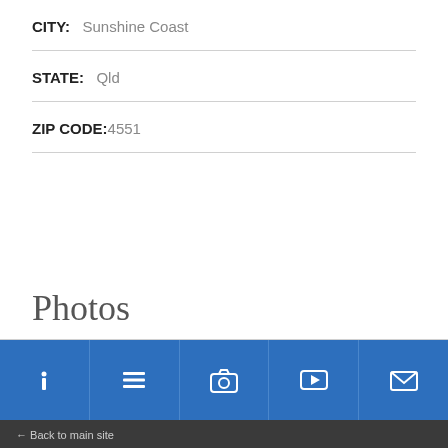CITY: Sunshine Coast
STATE: Qld
ZIP CODE: 4551
Photos
[Figure (other): Bottom navigation bar with 5 icons: info (i), list/menu, camera, play/video, envelope/mail]
← Back to main site